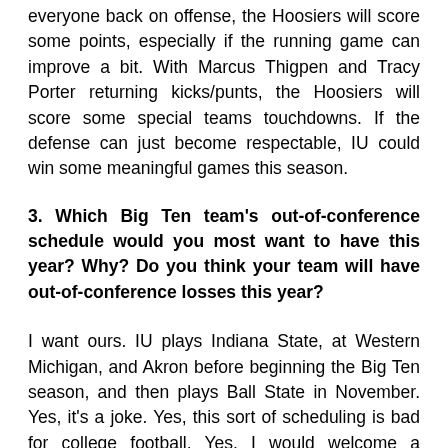everyone back on offense, the Hoosiers will score some points, especially if the running game can improve a bit. With Marcus Thigpen and Tracy Porter returning kicks/punts, the Hoosiers will score some special teams touchdowns. If the defense can just become respectable, IU could win some meaningful games this season.
3. Which Big Ten team's out-of-conference schedule would you most want to have this year? Why? Do you think your team will have out-of-conference losses this year?
I want ours. IU plays Indiana State, at Western Michigan, and Akron before beginning the Big Ten season, and then plays Ball State in November. Yes, it's a joke. Yes, this sort of scheduling is bad for college football. Yes, I would welcome a change in NCAA rules, allowing no more than 13 home games in a two year period and prohibiting I-AA